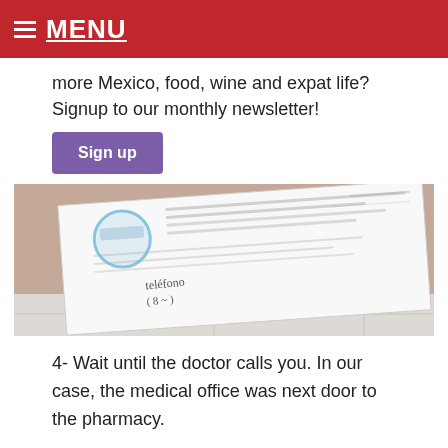MENU
more Mexico, food, wine and expat life? Signup to our monthly newsletter!
Sign up
[Figure (photo): A photo of a hand holding a medical prescription form with a blue stamp seal and handwritten text reading 'teléfono' with a phone number.]
4- Wait until the doctor calls you. In our case, the medical office was next door to the pharmacy.
Our doctor spoke English and was very friendly.